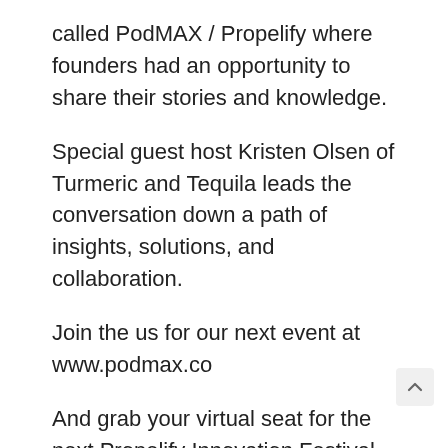called PodMAX / Propelify where founders had an opportunity to share their stories and knowledge.
Special guest host Kristen Olsen of Turmeric and Tequila leads the conversation down a path of insights, solutions, and collaboration.
Join the us for our next event at www.podmax.co
And grab your virtual seat for the next Propelify Innovation Festival on October 5-9 at www.propelify.com
BARRY RUBIN
Barry has been in sales and business developmen over 25 years and since 2016 he has enjoyed the